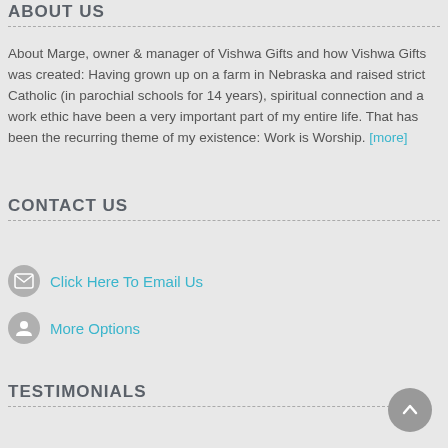ABOUT US
About Marge, owner & manager of Vishwa Gifts and how Vishwa Gifts was created: Having grown up on a farm in Nebraska and raised strict Catholic (in parochial schools for 14 years), spiritual connection and a work ethic have been a very important part of my entire life. That has been the recurring theme of my existence: Work is Worship. [more]
CONTACT US
Click Here To Email Us
More Options
TESTIMONIALS